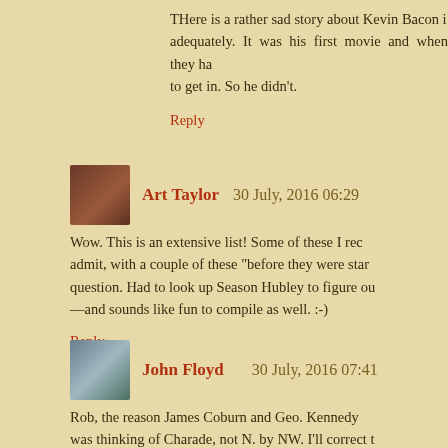THere is a rather sad story about Kevin Bacon i... adequately. It was his first movie and when they ha... to get in. So he didn't.
Reply
Art Taylor  30 July, 2016 06:29
Wow. This is an extensive list! Some of these I rec... admit, with a couple of these "before they were star... question. Had to look up Season Hubley to figure ou... —and sounds like fun to compile as well. :-)
Reply
John Floyd  30 July, 2016 07:41
Rob, the reason James Coburn and Geo. Kennedy... was thinking of Charade, not N. by NW. I'll correct t... Grant.